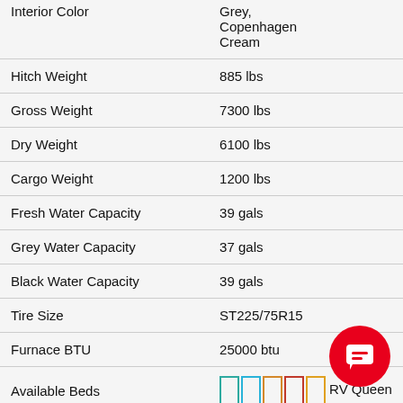| Feature | Value |
| --- | --- |
| Interior Color | Grey, Copenhagen Cream |
| Hitch Weight | 885 lbs |
| Gross Weight | 7300 lbs |
| Dry Weight | 6100 lbs |
| Cargo Weight | 1200 lbs |
| Fresh Water Capacity | 39 gals |
| Grey Water Capacity | 37 gals |
| Black Water Capacity | 39 gals |
| Tire Size | ST225/75R15 |
| Furnace BTU | 25000 btu |
| Available Beds | RV Queen |
| Refrigerator Type | 12V/110 Electric |